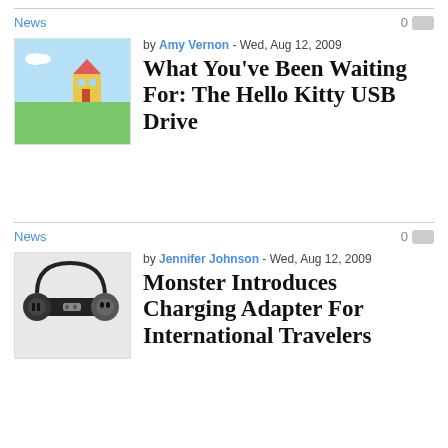News
0
by Amy Vernon - Wed, Aug 12, 2009
What You've Been Waiting For: The Hello Kitty USB Drive
[Figure (photo): Hello Kitty x mimobo promotional image with Hello Kitty on bicycle, Sanrio branding]
News
0
by Jennifer Johnson - Wed, Aug 12, 2009
Monster Introduces Charging Adapter For International Travelers
[Figure (photo): Monster charging adapter/power strip with international plugs on dark background]